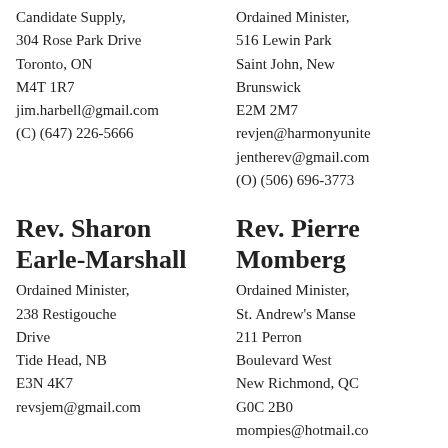Candidate Supply,
304 Rose Park Drive
Toronto, ON
M4T 1R7
jim.harbell@gmail.com
(C) (647) 226-5666
Ordained Minister,
516 Lewin Park
Saint John, New Brunswick
E2M 2M7
revjen@harmonyunite
jentherev@gmail.com
(O) (506) 696-3773
Rev. Sharon Earle-Marshall
Rev. Pierre Momberg
Ordained Minister,
238 Restigouche Drive
Tide Head, NB
E3N 4K7
revsjem@gmail.com
Ordained Minister,
St. Andrew's Manse
211 Perron Boulevard West
New Richmond, QC
G0C 2B0
mompies@hotmail.com